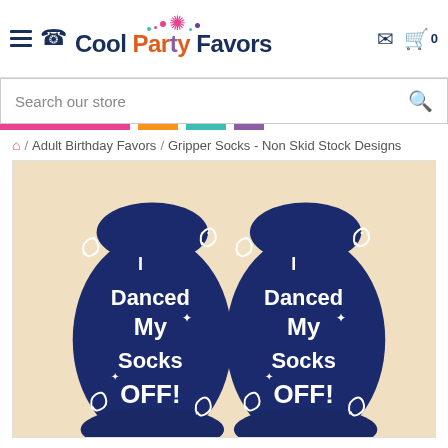Cool Party Favors - navigation header with hamburger menu, phone icon, logo, mail icon, cart icon
Search our store
Home / Adult Birthday Favors / Gripper Socks - Non Skid Stock Designs
[Figure (photo): Product photo of a pair of navy blue gripper socks with white text on the soles reading 'I Danced My Socks OFF!' with decorative swirls and stars. Both soles are shown side by side.]